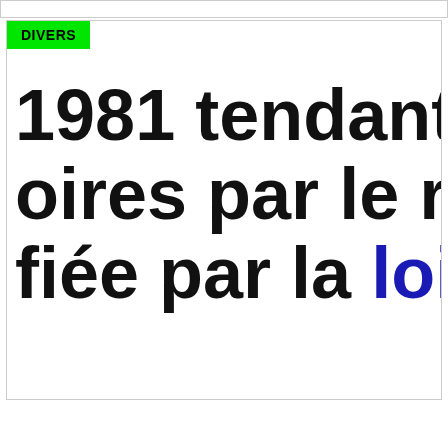[Figure (screenshot): Article card with green DIVERS badge and large black bold headline text showing '1981 tendant', 'oires par le rac', 'fiée par la loi' with 'loi' in dark blue, partially cropped]
Ce site Internet utilise des cookies pour faciliter votre navigation. En cliquant sur «Accepter», vous consentez à l'utilisation de tous les cookies et acceptez les Mentions légales.
Cookies   ACCEPTER